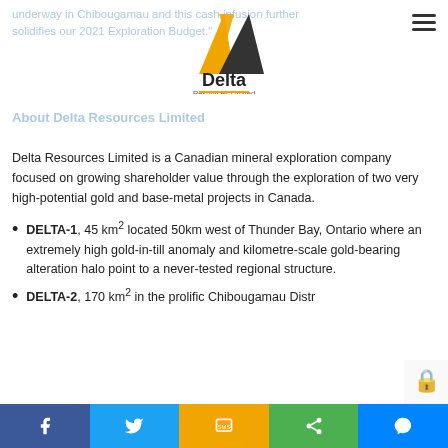underway in Chibougamau and this cash infusion further solidifies our 2021 Exploration Budget.
[Figure (logo): Delta Resources Limited logo with orange and dark triangle shapes above the text 'Delta Resources Limited']
About Delta Resources Limited
Delta Resources Limited is a Canadian mineral exploration company focused on growing shareholder value through the exploration of two very high-potential gold and base-metal projects in Canada.
DELTA-1, 45 km² located 50km west of Thunder Bay, Ontario where an extremely high gold-in-till anomaly and kilometre-scale gold-bearing alteration halo point to a never-tested regional structure.
DELTA-2, 170 km² in the prolific Chibougamau District of Quebec…